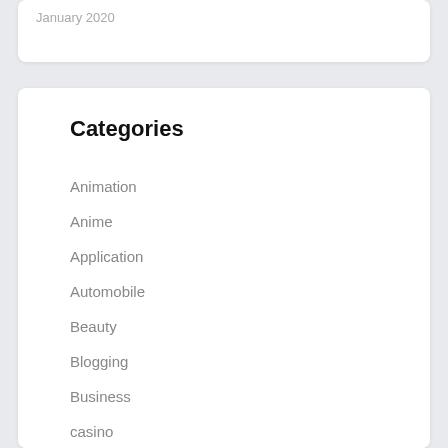January 2020
Categories
Animation
Anime
Application
Automobile
Beauty
Blogging
Business
casino